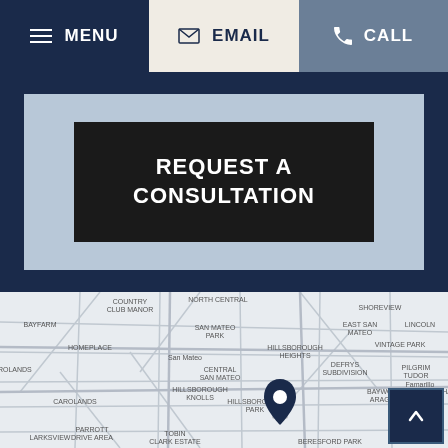MENU | EMAIL | CALL
REQUEST A CONSULTATION
[Figure (map): Street map of San Mateo, CA area showing a location pin marker, with neighborhood labels including North Central, East San Mateo, Hillsborough Heights, Baywood Aragon, Country Club Manor, Homeplace, San Mateo Park, Central San Mateo, Vintage Park, Lincoln, Shoreview, Carolands, Gardenside, among others.]